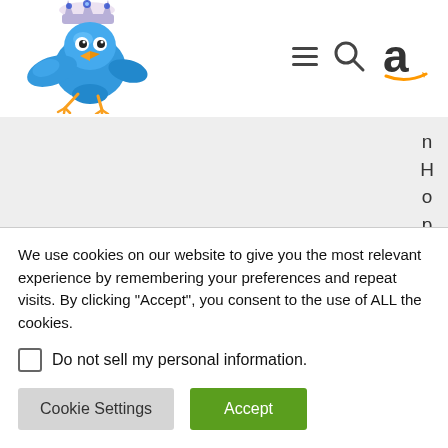[Figure (logo): Blue Twitter bird mascot with a crown, flying, cartoon style]
[Figure (logo): Navigation icons: hamburger menu (three horizontal lines), magnifying glass search icon, and Amazon 'a' logo with orange arrow]
n H o p p e
We use cookies on our website to give you the most relevant experience by remembering your preferences and repeat visits. By clicking “Accept”, you consent to the use of ALL the cookies.
Do not sell my personal information.
Cookie Settings
Accept